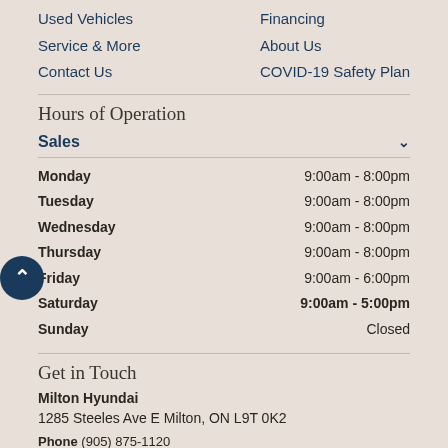Used Vehicles
Service & More
Contact Us
Financing
About Us
COVID-19 Safety Plan
Hours of Operation
Sales
| Day | Hours |
| --- | --- |
| Monday | 9:00am - 8:00pm |
| Tuesday | 9:00am - 8:00pm |
| Wednesday | 9:00am - 8:00pm |
| Thursday | 9:00am - 8:00pm |
| Friday | 9:00am - 6:00pm |
| Saturday | 9:00am - 5:00pm |
| Sunday | Closed |
Get in Touch
Milton Hyundai
1285 Steeles Ave E Milton, ON L9T 0K2
Phone  (905) 875-1120
Service  (905) 875-1184